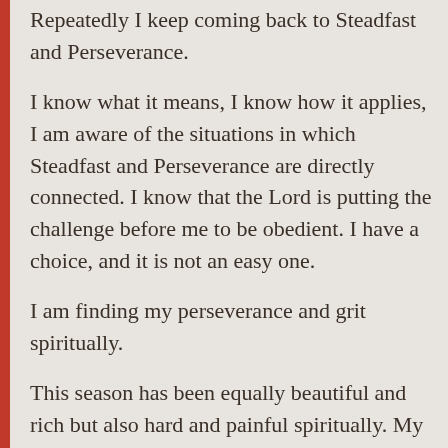Repeatedly I keep coming back to Steadfast and Perseverance.
I know what it means, I know how it applies, I am aware of the situations in which Steadfast and Perseverance are directly connected. I know that the Lord is putting the challenge before me to be obedient. I have a choice, and it is not an easy one.
I am finding my perseverance and grit spiritually.
This season has been equally beautiful and rich but also hard and painful spiritually. My heart desires a closeness with the Lord that I have not experienced in more than five years. I cannot say that I feel like the Lord has “said” anything specific to me, but more a confidence and guidance as I